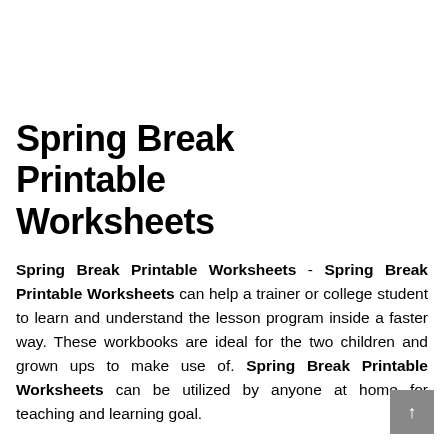Spring Break Printable Worksheets
Spring Break Printable Worksheets - Spring Break Printable Worksheets can help a trainer or college student to learn and understand the lesson program inside a faster way. These workbooks are ideal for the two children and grown ups to make use of. Spring Break Printable Worksheets can be utilized by anyone at home for teaching and learning goal.